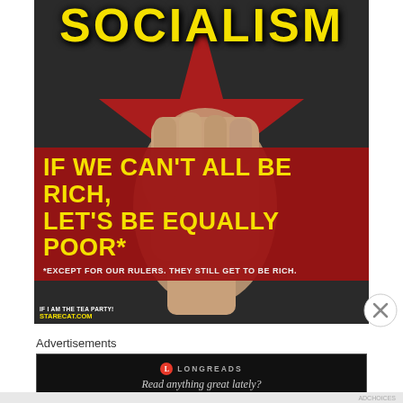[Figure (illustration): Anti-socialism propaganda poster with dark grey background, large red star, raised fist in center, yellow bold text 'SOCIALISM' at top, red banner with yellow bold text 'IF WE CAN'T ALL BE RICH, LET'S BE EQUALLY POOR*', white asterisk text '*EXCEPT FOR OUR RULERS. THEY STILL GET TO BE RICH.' Watermark: 'IF I AM THE TEA PARTY! STARECAT.COM']
Advertisements
[Figure (screenshot): Longreads advertisement banner on black background. Longreads logo (red circle with L). Text: 'LONGREADS' and 'Read anything great lately?']